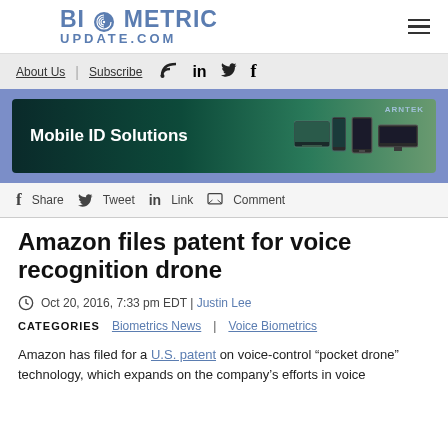BIOMETRIC UPDATE.COM
About Us | Subscribe
[Figure (screenshot): Mobile ID Solutions banner advertisement by ARNTEK showing various biometric devices]
f Share  Tweet  in  Link  Comment
Amazon files patent for voice recognition drone
Oct 20, 2016, 7:33 pm EDT | Justin Lee
CATEGORIES   Biometrics News | Voice Biometrics
Amazon has filed for a U.S. patent on voice-control “pocket drone” technology, which expands on the company’s efforts in voice